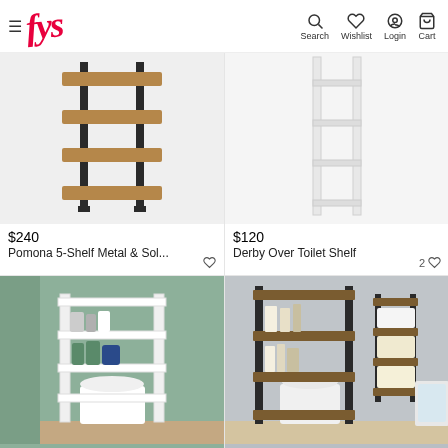fys - Search, Wishlist, Login, Cart
[Figure (photo): Pomona 5-Shelf Metal & Sol... shelf unit product image on light gray background]
$240
Pomona 5-Shelf Metal & Sol...
[Figure (photo): Derby Over Toilet Shelf product image on light gray background]
$120
Derby Over Toilet Shelf
2
[Figure (photo): White over-toilet bathroom shelf unit in green bathroom setting]
$180
4
[Figure (photo): Dark metal and wood over-toilet shelf combo with wall-mounted unit in gray bathroom]
$300
7